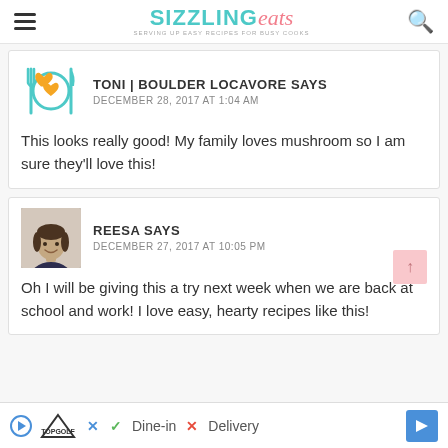SIZZLING eats
TONI | BOULDER LOCAVORE SAYS
DECEMBER 28, 2017 AT 1:04 AM

This looks really good! My family loves mushroom so I am sure they'll love this!
REESA SAYS
DECEMBER 27, 2017 AT 10:05 PM

Oh I will be giving this a try next week when we are back at school and work! I love easy, hearty recipes like this!
[Figure (other): Advertisement banner for TopGolf showing Dine-in and Delivery options with navigation arrow]